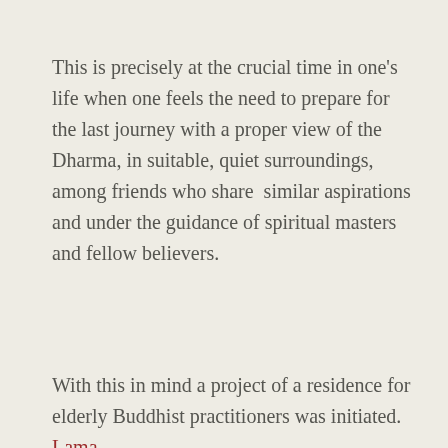This is precisely at the crucial time in one’s life when one feels the need to prepare for the last journey with a proper view of the Dharma, in suitable, quiet surroundings, among friends who share  similar aspirations and under the guidance of spiritual masters and fellow believers.
With this in mind a project of a residence for elderly Buddhist practitioners was initiated.    Lama
We use cookies on our website to give you the most relevant experience by remembering your preferences and repeat visits. By clicking “Accept”, you consent to the use of ALL the cookies.
Cookie settings   REJECT   ACCEPT